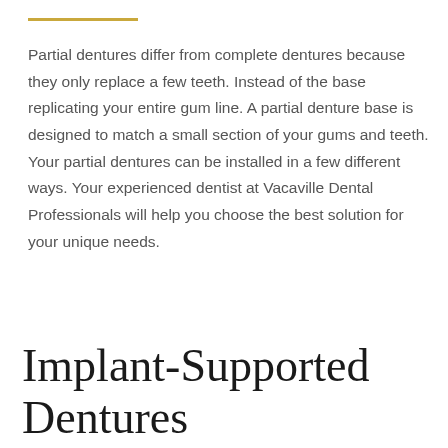Partial dentures differ from complete dentures because they only replace a few teeth. Instead of the base replicating your entire gum line. A partial denture base is designed to match a small section of your gums and teeth. Your partial dentures can be installed in a few different ways. Your experienced dentist at Vacaville Dental Professionals will help you choose the best solution for your unique needs.
Implant-Supported Dentures